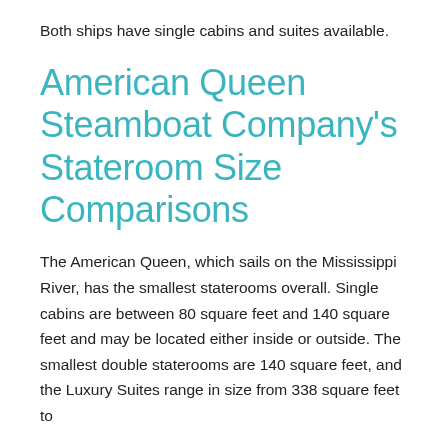Both ships have single cabins and suites available.
American Queen Steamboat Company’s Stateroom Size Comparisons
The American Queen, which sails on the Mississippi River, has the smallest staterooms overall. Single cabins are between 80 square feet and 140 square feet and may be located either inside or outside. The smallest double staterooms are 140 square feet, and the Luxury Suites range in size from 338 square feet to